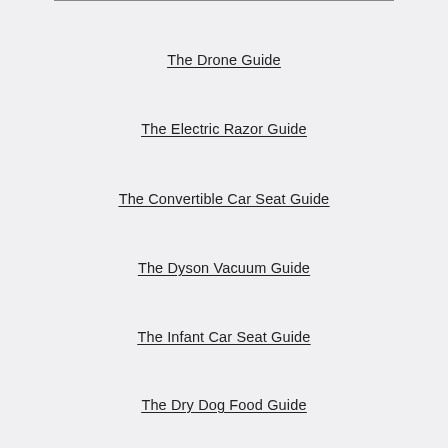The Drone Guide
The Electric Razor Guide
The Convertible Car Seat Guide
The Dyson Vacuum Guide
The Infant Car Seat Guide
The Dry Dog Food Guide
The Carpet Cleaners Guide
The Kick-Start Every Morning With Coffee